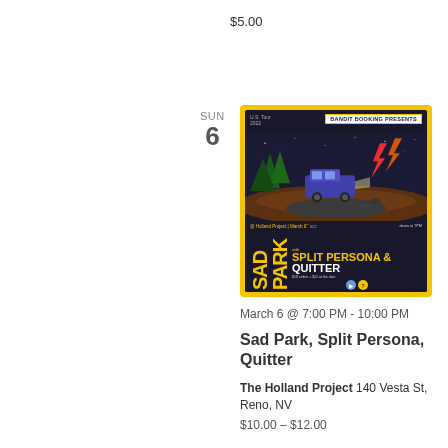$5.00
SUN
6
[Figure (illustration): Concert poster for Sad Park U.S. Tour 2022, presented by Bandit Booking. Features illustrated art of a truck on a road at night with lightning and trees. Text reads: SAD PARK with SPLIT PERSONA & QUITTER @ Holland Project, March 6th 2022, 140 Vesta St., doors at 7PM, $10 online + $12 at the door.]
March 6 @ 7:00 PM - 10:00 PM
Sad Park, Split Persona, Quitter
The Holland Project 140 Vesta St, Reno, NV
$10.00 – $12.00